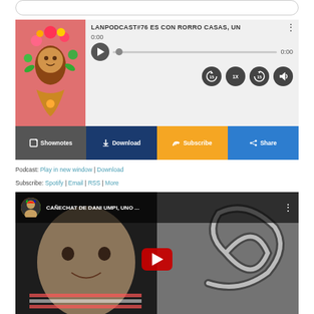[Figure (screenshot): Podcast player with episode title LANPODCAST#76 ES CON RORRO CASAS, UN, play button, progress bar showing 0:00, playback controls (rewind 15, 1x speed, forward 15, volume), and action bar with Shownotes, Download, Subscribe, Share buttons]
Podcast: Play in new window | Download
Subscribe: Spotify | Email | RSS | More
[Figure (screenshot): YouTube video embed showing CAÑECHAT DE DANI UMPI, UNO ... with a man's face on the left and a sculptural spiral object on the right, with a YouTube play button overlay]